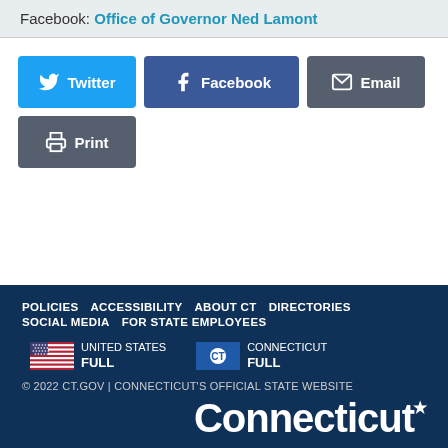Facebook: Office of Governor Ned Lamont
[Figure (infographic): Social share buttons: Twitter (blue), Facebook (dark blue), Email (gray), Print (gray)]
POLICIES  ACCESSIBILITY  ABOUT CT  DIRECTORIES  SOCIAL MEDIA  FOR STATE EMPLOYEES
UNITED STATES FULL  CONNECTICUT FULL
© 2022 CT.GOV | CONNECTICUT'S OFFICIAL STATE WEBSITE
Connecticut